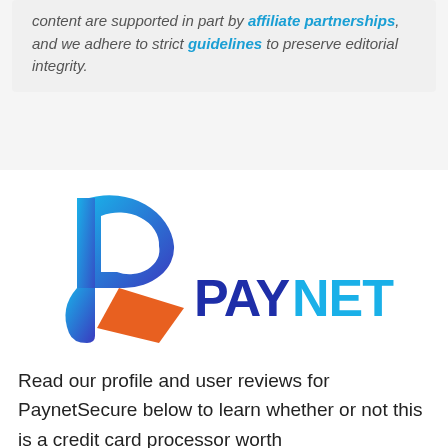content are supported in part by affiliate partnerships, and we adhere to strict guidelines to preserve editorial integrity.
[Figure (logo): PayNetSecure logo: a blue and purple P-shaped swoosh icon on the left, with an orange accent, and the text PAYNETSECURE in blue and dark blue to the right.]
Read our profile and user reviews for PaynetSecure below to learn whether or not this is a credit card processor worth